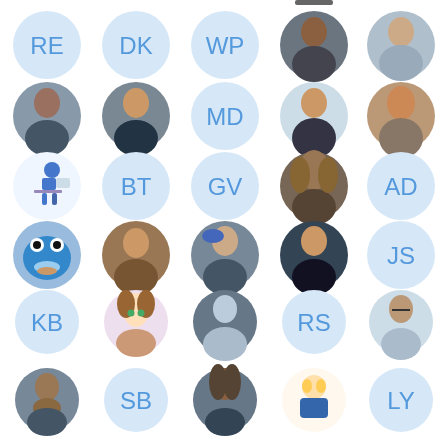[Figure (infographic): Grid of 30 circular profile pictures/avatars arranged in 6 rows of 5. Some show initials (RE, DK, WP, MD, BT, GV, AD, JS, KB, RS, SB, LY) in blue on light-blue circles; others show actual profile photos or character illustrations (cookie monster, anime character, cartoon figures).]